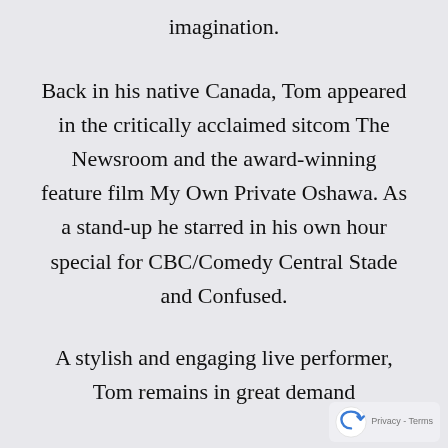imagination.
Back in his native Canada, Tom appeared in the critically acclaimed sitcom The Newsroom and the award-winning feature film My Own Private Oshawa. As a stand-up he starred in his own hour special for CBC/Comedy Central Stade and Confused.
A stylish and engaging live performer, Tom remains in great demand